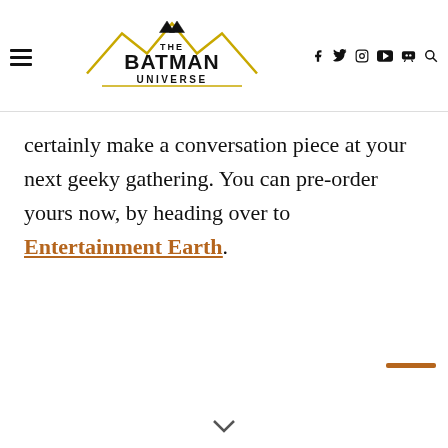The Batman Universe – navigation header with hamburger menu, logo, social icons (f, twitter, instagram, youtube, discord, search)
certainly make a conversation piece at your next geeky gathering. You can pre-order yours now, by heading over to Entertainment Earth.